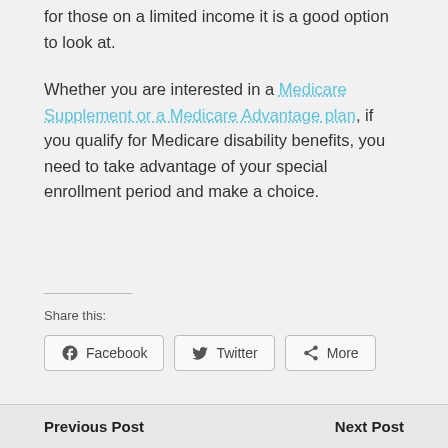for those on a limited income it is a good option to look at.
Whether you are interested in a Medicare Supplement or a Medicare Advantage plan, if you qualify for Medicare disability benefits, you need to take advantage of your special enrollment period and make a choice.
Share this:
[Figure (other): Social share buttons: Facebook, Twitter, More]
Previous Post    Next Post